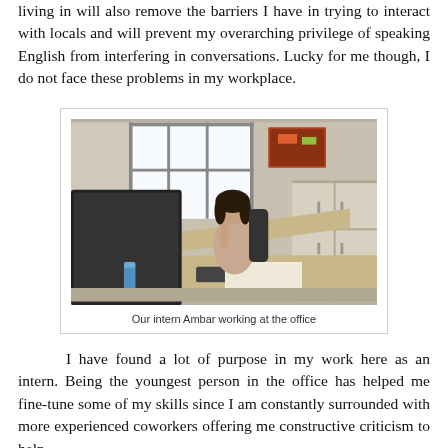living in will also remove the barriers I have in trying to interact with locals and will prevent my overarching privilege of speaking English from interfering in conversations. Lucky for me though, I do not face these problems in my workplace.
[Figure (photo): A woman sitting at an office desk working, with a computer monitor in the foreground, a window with bars and bright light behind her, a wardrobe to the right, and a colorful artwork on the wall above.]
Our intern Ambar working at the office
I have found a lot of purpose in my work here as an intern. Being the youngest person in the office has helped me fine-tune some of my skills since I am constantly surrounded with more experienced coworkers offering me constructive criticism to help